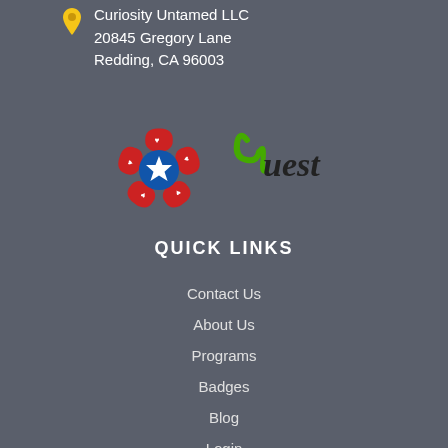Curiosity Untamed LLC
20845 Gregory Lane
Redding, CA 96003
[Figure (logo): Two logos side by side: left is a star-shaped badge with red hearts and a blue star center, right is 'Quest' text logo with green stylized Q]
QUICK LINKS
Contact Us
About Us
Programs
Badges
Blog
Login
Join Now